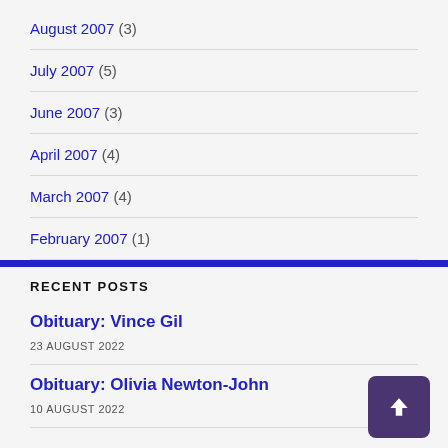August 2007 (3)
July 2007 (5)
June 2007 (3)
April 2007 (4)
March 2007 (4)
February 2007 (1)
RECENT POSTS
Obituary: Vince Gil
23 AUGUST 2022
Obituary: Olivia Newton-John
10 AUGUST 2022